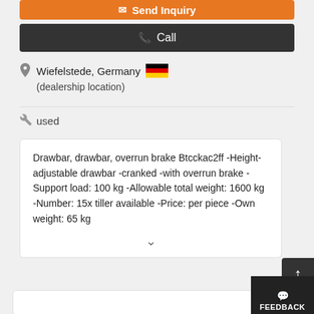Send Inquiry
Call
Wiefelstede, Germany
(dealership location)
used
Drawbar, drawbar, overrun brake Btcckac2ff -Height-adjustable drawbar -cranked -with overrun brake -Support load: 100 kg -Allowable total weight: 1600 kg -Number: 15x tiller available -Price: per piece -Own weight: 65 kg
FEEDBACK